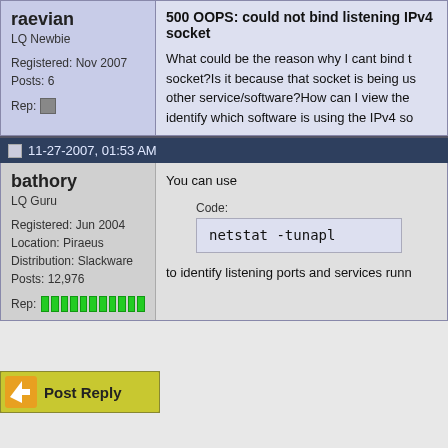raevian
LQ Newbie
Registered: Nov 2007
Posts: 6
Rep: [icon]
500 OOPS: could not bind listening IPv4 socket
What could be the reason why I cant bind the socket?Is it because that socket is being used by other service/software?How can I view the identify which software is using the IPv4 so
11-27-2007, 01:53 AM
bathory
LQ Guru
Registered: Jun 2004
Location: Piraeus
Distribution: Slackware
Posts: 12,976
Rep:
You can use
Code:
to identify listening ports and services runn